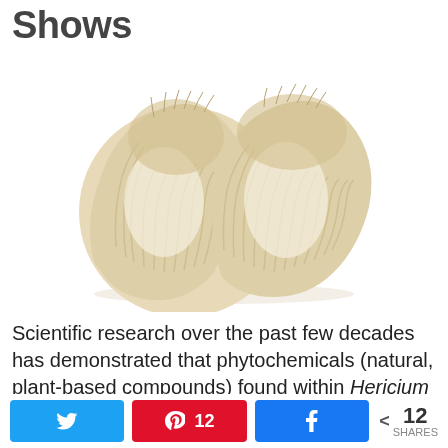Shows
[Figure (photo): Two lion's mane mushrooms (Hericium erinaceus) with white fluffy spines, photographed on white background]
Scientific research over the past few decades has demonstrated that phytochemicals (natural, plant-based compounds) found within Hericium Erinaceus have some substantial benefits for
Twitter share button | Pinterest 12 | Facebook share button | < 12 SHARES